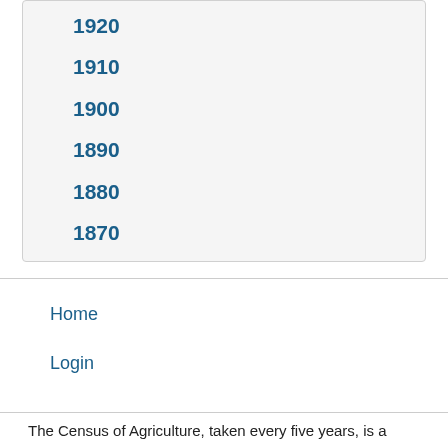1920
1910
1900
1890
1880
1870
Home
Login
The Census of Agriculture, taken every five years, is a